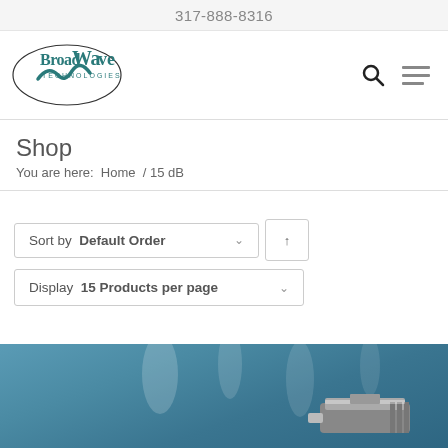317-888-8316
[Figure (logo): BroadWave Technologies logo — oval outline with stylized wave and company name text]
Shop
You are here:  Home  /  15 dB
Sort by Default Order ∨  ↑
Display 15 Products per page ∨
[Figure (photo): Partial photo of a metallic RF/coaxial connector on a blurred teal-blue background]